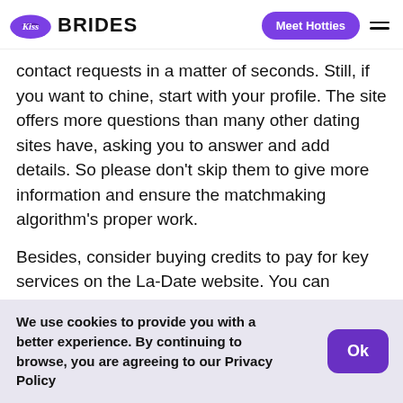Kiss Brides | Meet Hotties
contact requests in a matter of seconds. Still, if you want to chine, start with your profile. The site offers more questions than many other dating sites have, asking you to answer and add details. So please don't skip them to give more information and ensure the matchmaking algorithm's proper work.
Besides, consider buying credits to pay for key services on the La-Date website. You can choose one of the packs according to your budget and communication style. But, of course, most active users need the largest pack of 750 credits.
We use cookies to provide you with a better experience. By continuing to browse, you are agreeing to our Privacy Policy